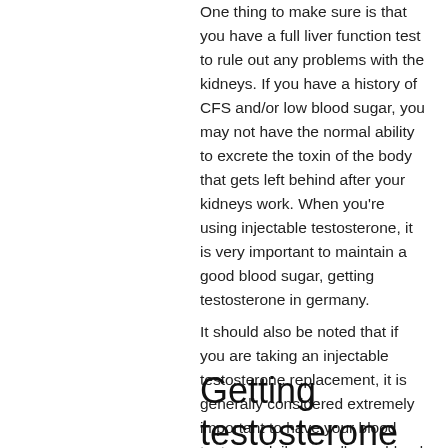One thing to make sure is that you have a full liver function test to rule out any problems with the kidneys. If you have a history of CFS and/or low blood sugar, you may not have the normal ability to excrete the toxin of the body that gets left behind after your kidneys work. When you're using injectable testosterone, it is very important to maintain a good blood sugar, getting testosterone in germany.
It should also be noted that if you are taking an injectable testosterone replacement, it is generally considered extremely important to have your blood tests run daily as well as a blood cholesterol profile.
Getting testosterone in germany